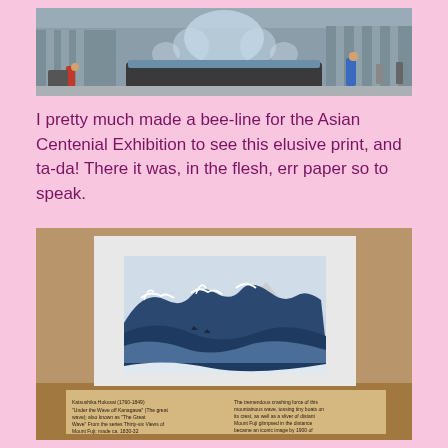[Figure (photo): Outdoor photograph of a large fountain in front of a museum building, with people walking nearby]
I pretty much made a bee-line for the Asian Centenial Exhibition to see this elusive print, and ta-da! There it was, in the flesh, err paper so to speak.
[Figure (photo): Photograph of Hokusai's 'The Great Wave off Kanagawa' woodblock print displayed in a museum exhibition case, with an informational label below]